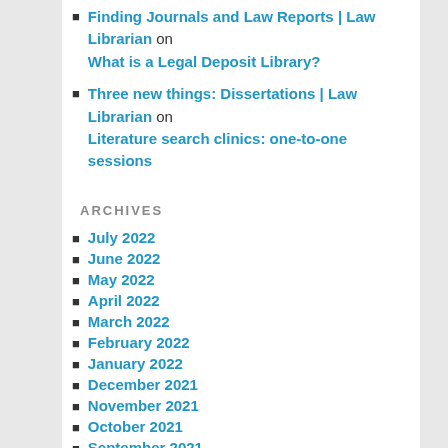Finding Journals and Law Reports | Law Librarian on What is a Legal Deposit Library?
Three new things: Dissertations | Law Librarian on Literature search clinics: one-to-one sessions
ARCHIVES
July 2022
June 2022
May 2022
April 2022
March 2022
February 2022
January 2022
December 2021
November 2021
October 2021
September 2021
August 2021
July 2021
June 2021
May 2021